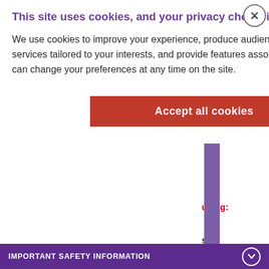[Figure (screenshot): Cookie consent modal overlay on a medical website about TIBSOVO. The modal has a purple bold title 'This site uses cookies, and your privacy choice is important to us.' followed by body text about cookie use, and a red 'Accept all cookies' button. Behind the modal, partial text is visible about differentiation syndrome and TIBSOVO safety information. A purple vertical bar is visible on the right. The bottom has a purple footer bar reading 'IMPORTANT SAFETY INFORMATION'.]
This site uses cookies, and your privacy choice is important to us.
We use cookies to improve your experience, produce audience statistics, offer you services tailored to your interests, and provide features associated with social media. You can change your preferences at any time on the site.
leukemia (AML) has happened as early as 1 day and up to 3 months after starting TIBSOVO. Call your healthcare provider or go to the nearest hospital emergency room right away if you develop any of the following symptoms of differentiation syndrome during treatment with TIBSOVO:
IMPORTANT SAFETY INFORMATION